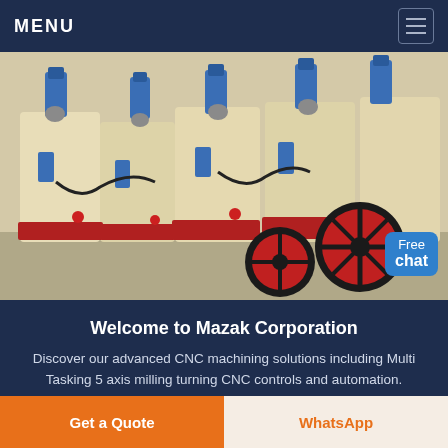MENU
[Figure (photo): Industrial CNC machinery in a factory setting with cream-colored machines, blue hydraulic components, and large red wheels on a production floor.]
Free chat
Welcome to Mazak Corporation
Discover our advanced CNC machining solutions including Multi Tasking 5 axis milling turning CNC controls and automation.
Get a Quote
WhatsApp